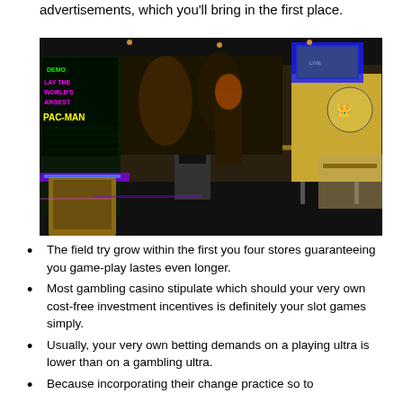advertisements, which you'll bring in the first place.
[Figure (photo): Interior of an arcade bar with colorful arcade machines including a Pac-Man cabinet with neon lighting, various arcade games, bar tables, and large TV screens in the background.]
The field try grow within the first you four stores guaranteeing you game-play lastes even longer.
Most gambling casino stipulate which should your very own cost-free investment incentives is definitely your slot games simply.
Usually, your very own betting demands on a playing ultra is lower than on a gambling ultra.
Because incorporating their change practice so to